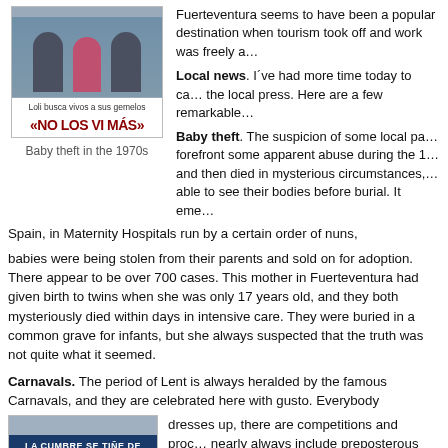[Figure (photo): Newspaper front page showing two women, with headline 'Loli busca vivos a sus gemelos' and large text «NO LOS VI MÁS»]
Baby theft in the 1970s
Fuerteventura seems to have been a popular destination when tourism took off and work was freely available.
Local news. I´ve had more time today to catch up with the local press. Here are a few remarkable stories.
Baby theft. The suspicion of some local parents brought to the forefront some apparent abuse during the 1970s. Babies that were born and then died in mysterious circumstances, with the parents not being able to see their bodies before burial. It emerged that all over Spain, in Maternity Hospitals run by a certain order of nuns,
babies were being stolen from their parents and sold on for adoption. There appear to be over 700 cases. This mother in Fuerteventura had given birth to twins when she was only 17 years old, and they both mysteriously died within days in intensive care. They were buried in a common grave for infants, but she always suspected that the truth was not quite what it seemed.
Carnavals. The period of Lent is always heralded by the famous Carnavals, and they are celebrated here with gusto. Everybody dresses up, there are competitions and proc... nearly always include preposterous drag qu...
[Figure (photo): Newspaper with headline 'LA CUMBRE SE TIÑE DE BLANCO' on a dark blue banner]